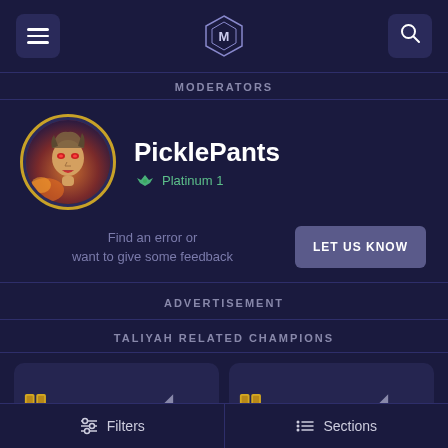MODERATORS
PicklePants
Platinum 1
Find an error or want to give some feedback
LET US KNOW
ADVERTISEMENT
TALIYAH RELATED CHAMPIONS
Filters  Sections